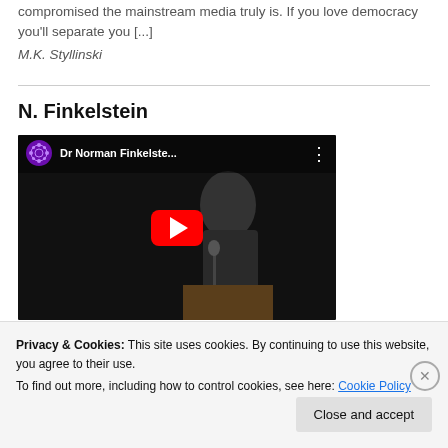compromised the mainstream media truly is. If you love democracy you'll separate you [...]
M.K. Styllinski
N. Finkelstein
[Figure (screenshot): YouTube video thumbnail showing Dr Norman Finkelste... with a speaker at a podium, dark background, red YouTube play button in center, purple mandala-style channel icon top left]
Privacy & Cookies: This site uses cookies. By continuing to use this website, you agree to their use.
To find out more, including how to control cookies, see here: Cookie Policy
Close and accept